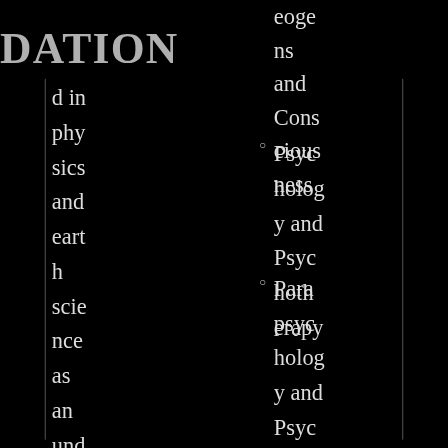DATION
d in physics and earth science as an undergraduate
eoge ns and Consciousness
Psychology and Psychotherapy
Parapsychology and Psychical Research